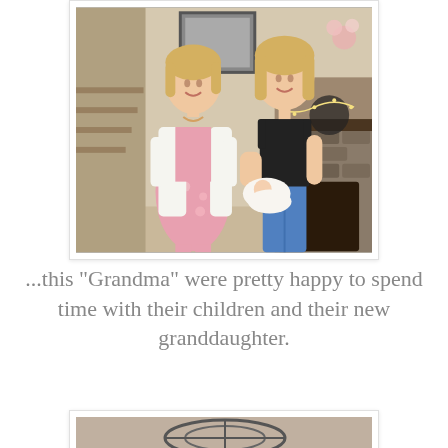[Figure (photo): Two smiling women standing indoors near a fireplace. The woman on the left wears a white cardigan over a pink floral dress. The woman on the right wears a black sleeveless top and jeans, holding a newborn baby wrapped in white. They are in a living room with stone fireplace and spring decorations.]
...this "Grandma" were pretty happy to spend time with their children and their new granddaughter.
[Figure (photo): Partial view of a photo at the bottom of the page, showing what appears to be metal/wire decorative items.]